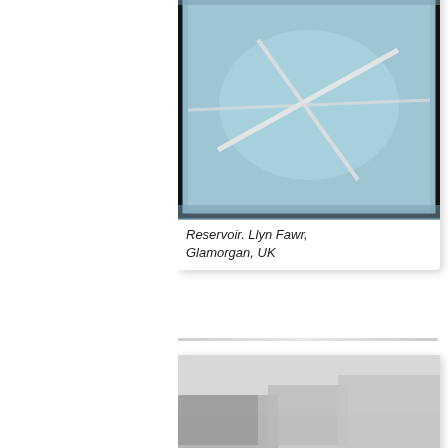[Figure (photo): Aerial photograph of Reservoir, Llyn Fawr, Glamorgan, UK. Shows a reservoir with light-colored lines/paths crossing it, viewed from above. Image is partially cropped at the top.]
Reservoir. Llyn Fawr, Glamorgan, UK
[Figure (photo): Black and white aerial photograph of Nature Reserve, Wiltshire Reservoir area. Shows agricultural fields, a reservoir, hedgerows, and a village from above.]
Nature Reserve, Wils Reservoir
[Figure (photo): Black and white aerial photograph partially visible at bottom of page, showing fields and what appears to be a white oval or circular feature.]